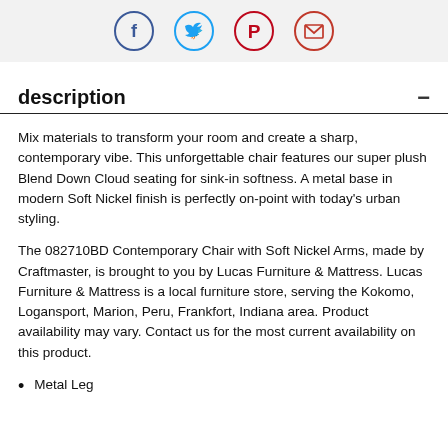Social share icons: Facebook, Twitter, Pinterest, Email
description
Mix materials to transform your room and create a sharp, contemporary vibe. This unforgettable chair features our super plush Blend Down Cloud seating for sink-in softness. A metal base in modern Soft Nickel finish is perfectly on-point with today's urban styling.
The 082710BD Contemporary Chair with Soft Nickel Arms, made by Craftmaster, is brought to you by Lucas Furniture & Mattress. Lucas Furniture & Mattress is a local furniture store, serving the Kokomo, Logansport, Marion, Peru, Frankfort, Indiana area. Product availability may vary. Contact us for the most current availability on this product.
Metal Leg